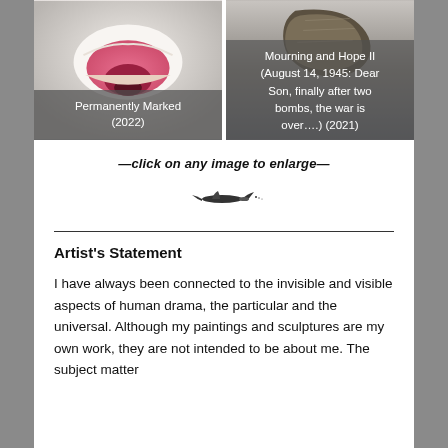[Figure (photo): Two artwork photos side by side. Left: 'Permanently Marked (2022)' showing a white sculptural form resembling an open mouth. Right: 'Mourning and Hope II (August 14, 1945: Dear Son, finally after two bombs, the war is over….) (2021)' showing a dark sculptural object.]
Permanently Marked (2022)
Mourning and Hope II (August 14, 1945: Dear Son, finally after two bombs, the war is over….) (2021)
—click on any image to enlarge—
[Figure (illustration): Small decorative bird or plane silhouette divider]
Artist's Statement
I have always been connected to the invisible and visible aspects of human drama, the particular and the universal. Although my paintings and sculptures are my own work, they are not intended to be about me. The subject matter